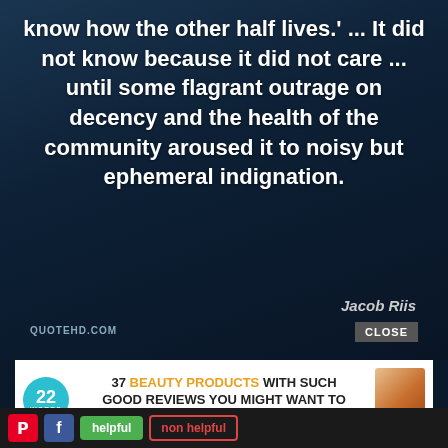[Figure (screenshot): A dark blue gradient quote card with white bold text, attribution 'Jacob Riis', QUOTEHD.COM watermark, overlaid with an ad banner for '37 Beauty Products' from 22 Words, and a social media bar at the bottom with Pinterest, Facebook, 'helpful' and 'non helpful' buttons.]
know how the other half lives.' ... It did not know because it did not care ... until some flagrant outrage on decency and the health of the community aroused it to noisy but ephemeral indignation.
Jacob Riis
QUOTEHD.COM
CLOSE
37 BEAUTY PRODUCTS WITH SUCH GOOD REVIEWS YOU MIGHT WANT TO TRY THEM YOURSELF
helpful
non helpful